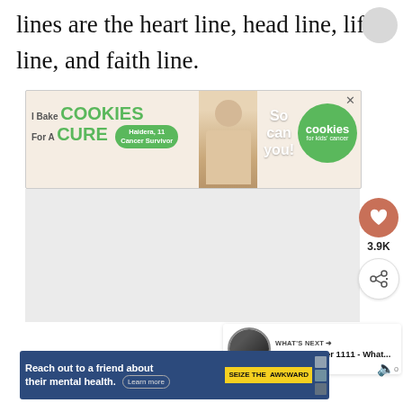lines are the heart line, head line, life line, and faith line.
[Figure (screenshot): Advertisement: I Bake COOKIES For A CURE - Cookies for Kids Cancer banner ad with a child cancer survivor photo and green circle logo]
[Figure (screenshot): Social media UI elements: heart/like button showing 3.9K likes, share button, What's Next panel showing Angel Number 1111 - What... article thumbnail]
[Figure (screenshot): Bottom advertisement: Reach out to a friend about their mental health. Learn more. SEIZE THE AWKWARD campaign banner in dark blue with yellow badge]
[Figure (screenshot): Mute/audio icon in gray on right side]